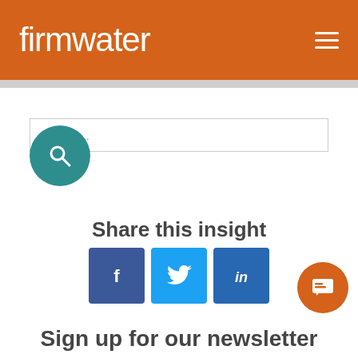firmwater
[Figure (screenshot): Search input box with placeholder text 'Search...' and a teal circular search button below it]
Share this insight
[Figure (infographic): Three social share buttons: Facebook (dark blue, f icon), Twitter (light blue, bird icon), LinkedIn (medium blue, in icon)]
Sign up for our newsletter
[Figure (infographic): Orange circular chat/support button in bottom right corner]